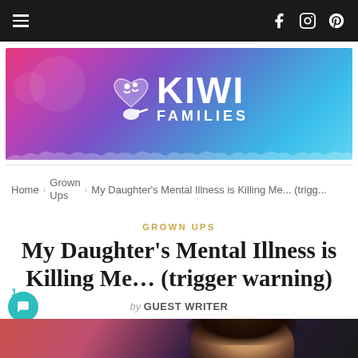Navigation bar with hamburger menu and social icons (Facebook, Instagram, Pinterest)
[Figure (logo): Kiwi Families logo banner with pink-purple-blue gradient background and white logo text]
Home > Grown Ups > My Daughter's Mental Illness is Killing Me... (trigg...
GROWN UPS
My Daughter's Mental Illness is Killing Me… (trigger warning)
by GUEST WRITER
[Figure (photo): Partial photo of a person with dark hair, blurred background with warm colors]